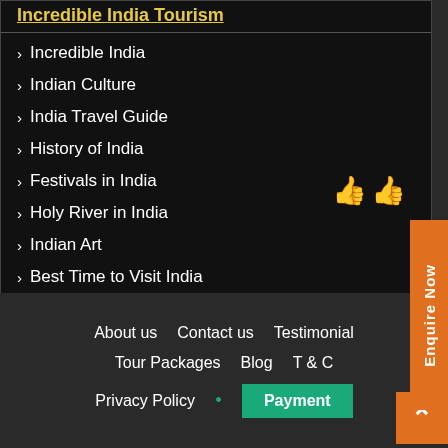Incredible India Tourism
Incredible India
Indian Culture
India Travel Guide
History of India
Festivals in India
Holy River in India
Indian Art
Best Time to Visit India
Wildlife Tourism
About us  Contact us  Testimonial  Tour Packages  Blog  T & C  Privacy Policy  Payment